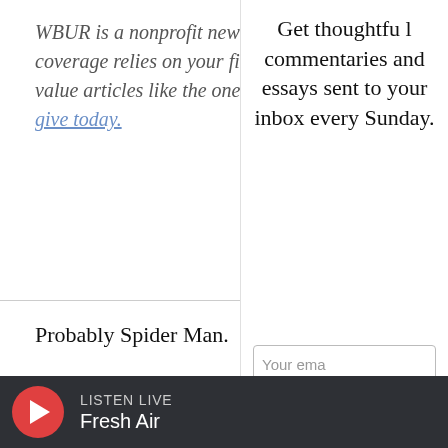WBUR is a nonprofit news organization. coverage relies on your financial support. value articles like the one you're reading. give today.
Probably Spider Man.
And who else?
Iron Man’s pretty cool, too, I said.
We turned our attention back to the s Panther leapt from a rooftop, chasin
Get thoughtful commentaries and essays sent to your inbox every Sunday.
Your email
SIGN UP
LISTEN LIVE
Fresh Air